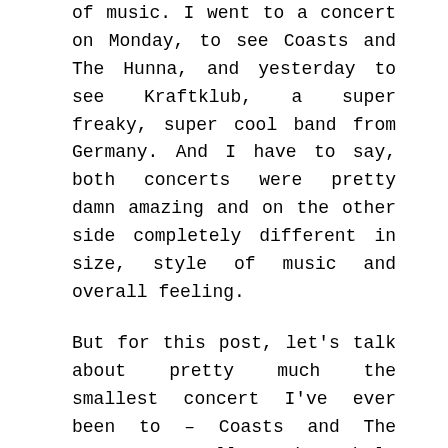of music. I went to a concert on Monday, to see Coasts and The Hunna, and yesterday to see Kraftklub, a super freaky, super cool band from Germany. And I have to say, both concerts were pretty damn amazing and on the other side completely different in size, style of music and overall feeling.
But for this post, let's talk about pretty much the smallest concert I've ever been to – Coasts and The Hunna. Actually, the whole concert trip started of pretty badly as I completely mixed up the dates and already drove to Vienna on Sunday and then went to the venue just to see that the whole place was shut down and that the concert was actually